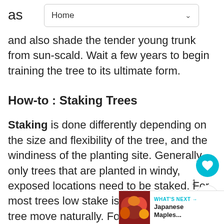Home
as and also shade the tender young trunk from sun-scald. Wait a few years to begin training the tree to its ultimate form.
How-to : Staking Trees
Staking is done differently depending on the size and flexibility of the tree, and the windiness of the planting site. Generally only trees that are planted in windy, exposed locations need to be staked. For most trees low stake is preferred, to let the tree move naturally. For windy areas or flexible trees a high stake. For trees more than 12 use two low stakes on opposite sides of the